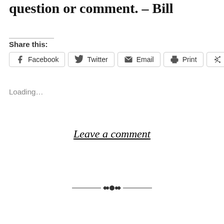question or comment. – Bill
Share this:
Facebook  Twitter  Email  Print  More
Loading...
Leave a comment